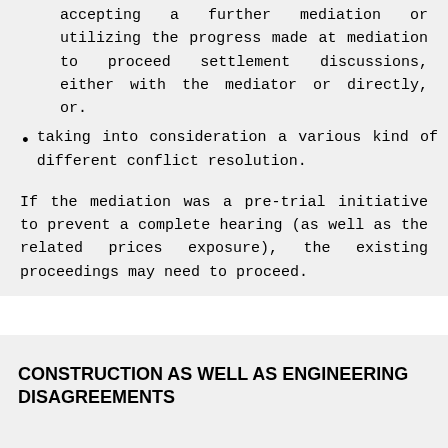the progress made at mediation to proceed settlement discussions, either with the mediator or directly, or.
taking into consideration a various kind of different conflict resolution.
If the mediation was a pre-trial initiative to prevent a complete hearing (as well as the related prices exposure), the existing proceedings may need to proceed.
CONSTRUCTION AS WELL AS ENGINEERING DISAGREEMENTS